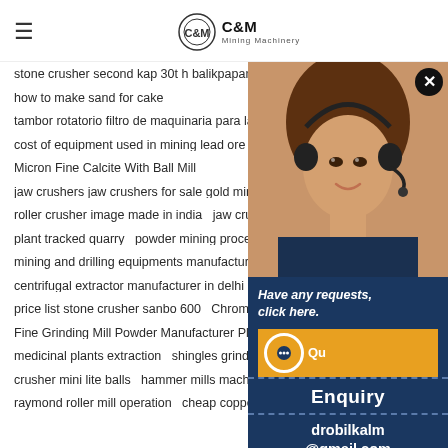C&M Mining Machinery
stone crusher second kap 30t h balikpapan   machine china crusher
how to make sand for cake
tambor rotatorio filtro de maquinaria para la mineria
cost of equipment used in mining lead ore   daewoo m ma
Micron Fine Calcite With Ball Mill
jaw crushers jaw crushers for sale gold mining equipment
roller crusher image made in india   jaw crusher rental in z
plant tracked quarry   powder mining processing equipme
mining and drilling equipments manufactures worldwide
centrifugal extractor manufacturer in delhi 28511
price list stone crusher sanbo 600   Chromite Ore Gold Sh
Fine Grinding Mill Powder Manufacturer Planetary Ball Mi
medicinal plants extraction   shingles grinder rental inida
crusher mini lite balls   hammer mills machinery suppliers
raymond roller mill operation   cheap copper ore separation plant
[Figure (photo): Customer service representative (woman with headset) with C&M Mining Machinery chat widget overlay showing Have any requests click here, Enquiry, drobilkalm@gmail.com, Chat]